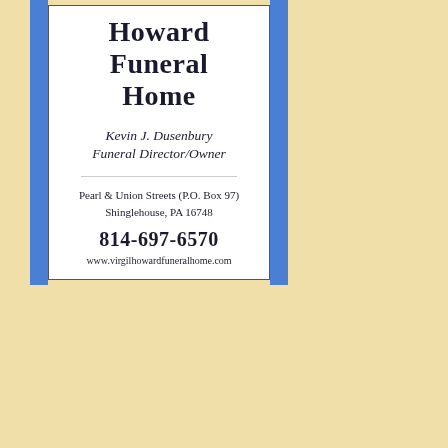[Figure (other): Advertisement for Howard Funeral Home featuring business name, owner name, address, phone number, and website on a white card with blue side bars and cream/tan background]